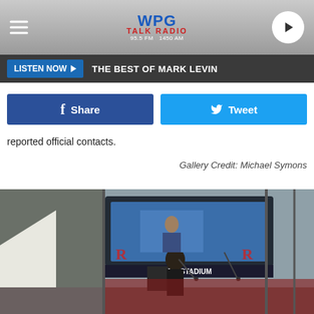WPG Talk Radio 95.5 FM 1450 AM
LISTEN NOW ▶   THE BEST OF MARK LEVIN
Share   Tweet
reported official contacts.
Gallery Credit: Michael Symons
[Figure (photo): A man speaking at a podium at SHI Stadium, a large video screen in the background showing the speaker, with stadium seating visible; outdoor event with tent.]